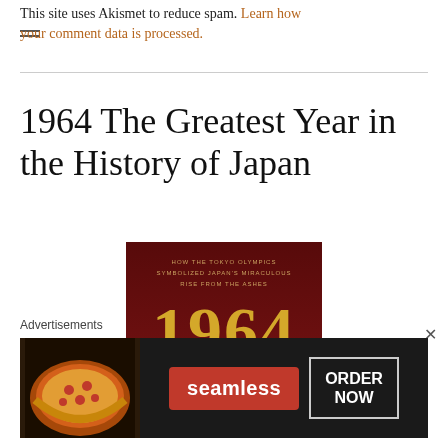This site uses Akismet to reduce spam. Learn how your comment data is processed.
1964 The Greatest Year in the History of Japan
[Figure (illustration): Book cover for '1964 The Greatest Year in the History of Japan' by Roy Tomizawa. Dark red/maroon background with gold text. Subtitle: 'How the Tokyo Olympics Symbolized Japan's Miraculous Rise from the Ashes'. Large gold '1964' numerals in center. Bottom text: 'The Greatest Year in the History of Japan'. Author: Roy Tomizawa.]
Advertisements
[Figure (other): Seamless food delivery advertisement banner. Dark background with pizza image on left, red Seamless logo button in center, and 'ORDER NOW' button on right.]